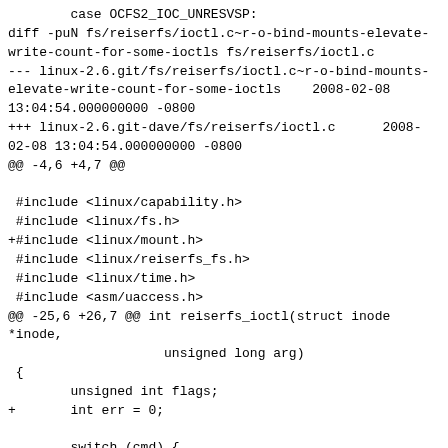case OCFS2_IOC_UNRESVSP:
diff -puN fs/reiserfs/ioctl.c~r-o-bind-mounts-elevate-write-count-for-some-ioctls fs/reiserfs/ioctl.c
--- linux-2.6.git/fs/reiserfs/ioctl.c~r-o-bind-mounts-elevate-write-count-for-some-ioctls    2008-02-08 13:04:54.000000000 -0800
+++ linux-2.6.git-dave/fs/reiserfs/ioctl.c      2008-02-08 13:04:54.000000000 -0800
@@ -4,6 +4,7 @@

 #include <linux/capability.h>
 #include <linux/fs.h>
+#include <linux/mount.h>
 #include <linux/reiserfs_fs.h>
 #include <linux/time.h>
 #include <asm/uaccess.h>
@@ -25,6 +26,7 @@ int reiserfs_ioctl(struct inode *inode,
                        unsigned long arg)
 {
        unsigned int flags;
+       int err = 0;

        switch (cmd) {
        case REISERFS_IOC_UNPACK:
@@ -48,50 +50,67 @@ int reiserfs_ioctl(struct inode *inode,
                        if (!reiserfs_attrs(inode->i_sb))
                                return -ENOTTY;